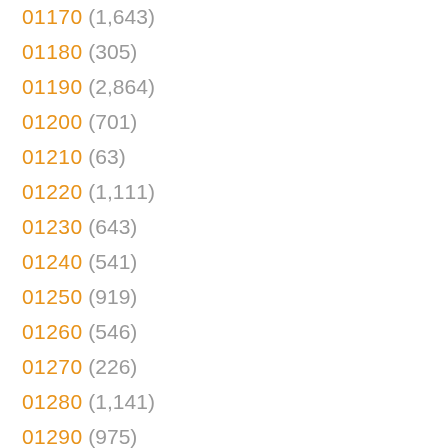01170 (1,643)
01180 (305)
01190 (2,864)
01200 (701)
01210 (63)
01220 (1,111)
01230 (643)
01240 (541)
01250 (919)
01260 (546)
01270 (226)
01280 (1,141)
01290 (975)
01300 (583)
01310 (461)